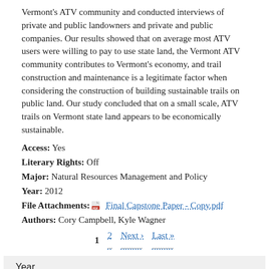Vermont's ATV community and conducted interviews of private and public landowners and private and public companies. Our results showed that on average most ATV users were willing to pay to use state land, the Vermont ATV community contributes to Vermont's economy, and trail construction and maintenance is a legitimate factor when considering the construction of building sustainable trails on public land. Our study concluded that on a small scale, ATV trails on Vermont state land appears to be economically sustainable.
Access: Yes
Literary Rights: Off
Major: Natural Resources Management and Policy
Year: 2012
File Attachments: Final Capstone Paper - Copy.pdf
Authors: Cory Campbell, Kyle Wagner
1  2  Next › Last »
Year
2010 (1)
2011 (4)
(-) 2012 (8)
2013 (8)